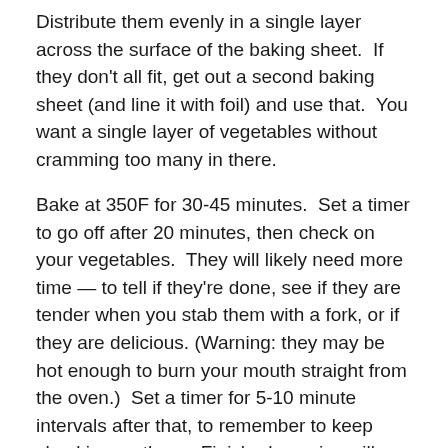Distribute them evenly in a single layer across the surface of the baking sheet.  If they don't all fit, get out a second baking sheet (and line it with foil) and use that.  You want a single layer of vegetables without cramming too many in there.
Bake at 350F for 30-45 minutes.  Set a timer to go off after 20 minutes, then check on your vegetables.  They will likely need more time — to tell if they're done, see if they are tender when you stab them with a fork, or if they are delicious. (Warning: they may be hot enough to burn your mouth straight from the oven.)  Set a timer for 5-10 minute intervals after that, to remember to keep checking on them.  Finished veggies will have lovely brown bits and generally be soft.
Remove the baking sheet from the oven and leave in a